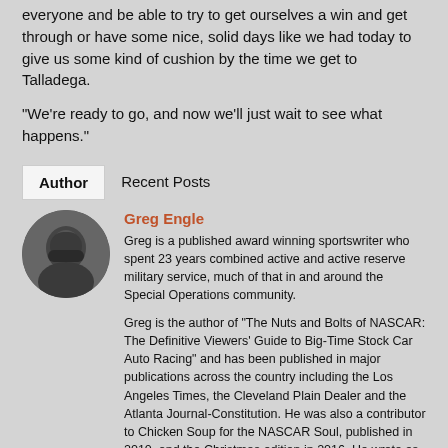everyone and be able to try to get ourselves a win and get through or have some nice, solid days like we had today to give us some kind of cushion by the time we get to Talladega.
“We’re ready to go, and now we’ll just wait to see what happens.”
Author | Recent Posts
Greg Engle
[Figure (photo): Circular portrait photo of Greg Engle wearing a dark helmet or balaclava]
Greg is a published award winning sportswriter who spent 23 years combined active and active reserve military service, much of that in and around the Special Operations community.
Greg is the author of "The Nuts and Bolts of NASCAR: The Definitive Viewers' Guide to Big-Time Stock Car Auto Racing" and has been published in major publications across the country including the Los Angeles Times, the Cleveland Plain Dealer and the Atlanta Journal-Constitution. He was also a contributor to Chicken Soup for the NASCAR Soul, published in 2010, and the Christmas edition in 2016. He wrote as the NASCAR, Formula 1, Auto Reviews and National Veterans Affairs Examiner for Examiner.com and has appeared on Fox